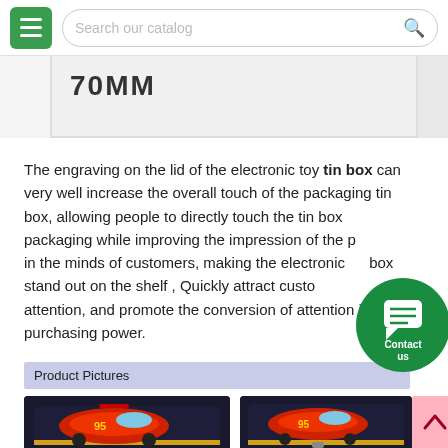Search our catalog
[Figure (photo): Partial image showing '70MM' text label on a light gray background, cropped at top]
The engraving on the lid of the electronic toy tin box can very well increase the overall touch of the packaging tin box, allowing people to directly touch the tin box packaging while improving the impression of the p… in the minds of customers, making the electronic… box stand out on the shelf , Quickly attract custo… attention, and promote the conversion of attention into purchasing power.
[Figure (illustration): Green circular Contact us button with chat icon]
Product Pictures
[Figure (photo): Two Cars (Lightning McQueen) themed tin boxes with dark background, decorative car artwork]